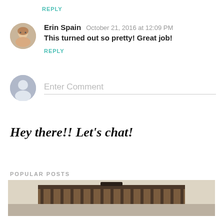REPLY
Erin Spain  October 21, 2016 at 12:09 PM
This turned out so pretty! Great job!
REPLY
Enter Comment
Hey there!! Let's chat!
POPULAR POSTS
[Figure (photo): Bottom portion of a wooden furniture piece or shelf unit against a light wall]